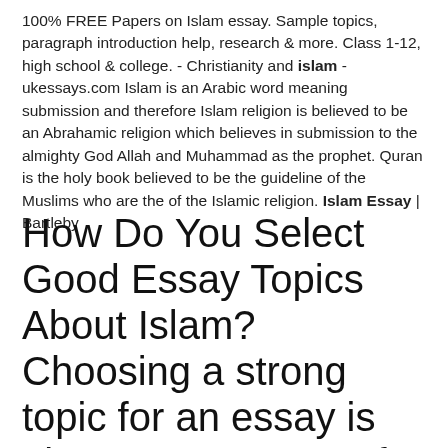100% FREE Papers on Islam essay. Sample topics, paragraph introduction help, research & more. Class 1-12, high school & college. - Christianity and islam - ukessays.com Islam is an Arabic word meaning submission and therefore Islam religion is believed to be an Abrahamic religion which believes in submission to the almighty God Allah and Muhammad as the prophet. Quran is the holy book believed to be the guideline of the Muslims who are the of the Islamic religion. Islam Essay | Bartleby
How Do You Select Good Essay Topics About Islam? Choosing a strong topic for an essay is almost a guarantee for a high grade. If you were assigned a